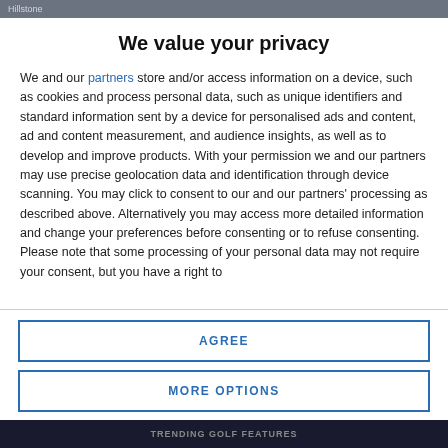Hillstone
We value your privacy
We and our partners store and/or access information on a device, such as cookies and process personal data, such as unique identifiers and standard information sent by a device for personalised ads and content, ad and content measurement, and audience insights, as well as to develop and improve products. With your permission we and our partners may use precise geolocation data and identification through device scanning. You may click to consent to our and our partners' processing as described above. Alternatively you may access more detailed information and change your preferences before consenting or to refuse consenting. Please note that some processing of your personal data may not require your consent, but you have a right to
AGREE
MORE OPTIONS
TRENDING GOLF FEATURES